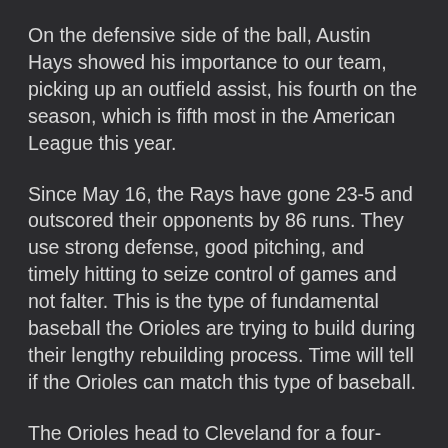On the defensive side of the ball, Austin Hays showed his importance to our team, picking up an outfield assist, his fourth on the season, which is fifth most in the American League this year.
Since May 16, the Rays have gone 23-5 and outscored their opponents by 86 runs. They use strong defense, good pitching, and timely hitting to seize control of games and not falter. This is the type of fundamental baseball the Orioles are trying to build during their lengthy rebuilding process. Time will tell if the Orioles can match this type of baseball.
The Orioles head to Cleveland for a four-game series, looking to forget the Florida Doldrums, as a new challenge awaits tomorrow.